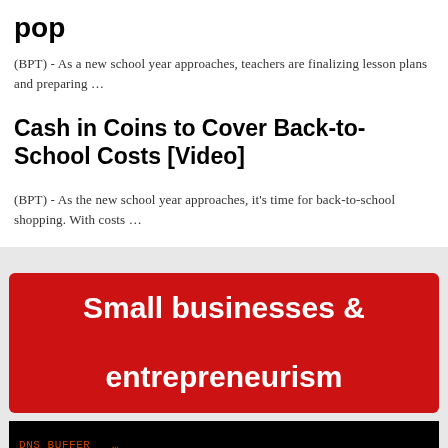pop
(BPT) - As a new school year approaches, teachers are finalizing lesson plans and preparing …
Cash in Coins to Cover Back-to-School Costs [Video]
(BPT) - As the new school year approaches, it's time for back-to-school shopping. With costs …
Small businesses & entrepreneurism
[Figure (screenshot): Black terminal screen showing DNS buffer text and a UUID-style string: 9218D55C-6A2F-4E82-8B8A-E48C83090ADD>: in orange monospace font]